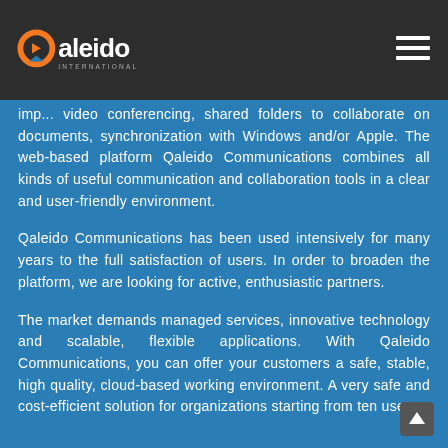Qaleido International
imp... video conferencing, shared folders to collaborate on documents, synchronization with Windows and/or Apple. The web-based platform Qaleido Communications combines all kinds of useful communication and collaboration tools in a clear and user-friendly environment.
Qaleido Communications has been used intensively for many years to the full satisfaction of users. In order to broaden the platform, we are looking for active, enthusiastic partners.
The market demands managed services, innovative technology and scalable, flexible applications. With Qaleido Communications, you can offer your customers a safe, stable, high quality, cloud-based working environment. A very safe and cost-efficient solution for organizations starting from ten users.